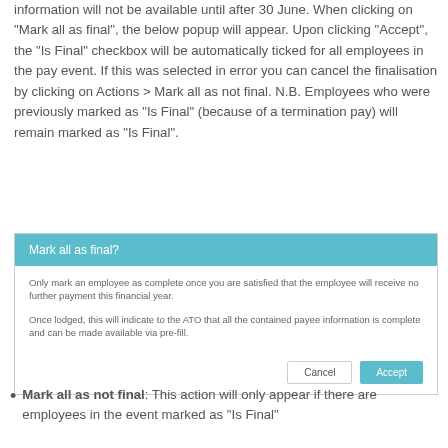information will not be available until after 30 June. When clicking on "Mark all as final", the below popup will appear. Upon clicking "Accept", the "Is Final" checkbox will be automatically ticked for all employees in the pay event. If this was selected in error you can cancel the finalisation by clicking on Actions > Mark all as not final. N.B. Employees who were previously marked as "Is Final" (because of a termination pay) will remain marked as "Is Final".
[Figure (screenshot): A popup dialog box with teal/blue header reading 'Mark all as final?' with body text explaining the action and Cancel/Accept buttons]
Mark all as not final: This action will only appear if there are employees in the event marked as "Is Final"